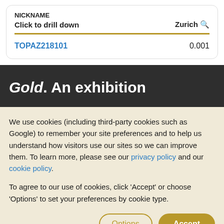| NICKNAME |  |
| --- | --- |
| Click to drill down | Zurich 🔍 |
| TOPAZ218101 | 0.001 |
Gold. An exhibition
We use cookies (including third-party cookies such as Google) to remember your site preferences and to help us understand how visitors use our sites so we can improve them. To learn more, please see our privacy policy and our cookie policy.
To agree to our use of cookies, click 'Accept' or choose 'Options' to set your preferences by cookie type.